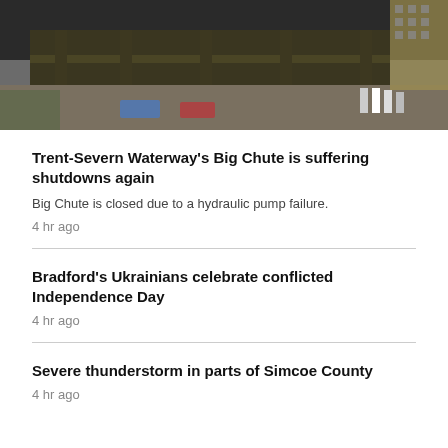[Figure (photo): Overhead view of a large structure or bridge over a city street, with buildings and people visible below. Dark, muted tones.]
Trent-Severn Waterway's Big Chute is suffering shutdowns again
Big Chute is closed due to a hydraulic pump failure.
4 hr ago
Bradford's Ukrainians celebrate conflicted Independence Day
4 hr ago
Severe thunderstorm in parts of Simcoe County
4 hr ago